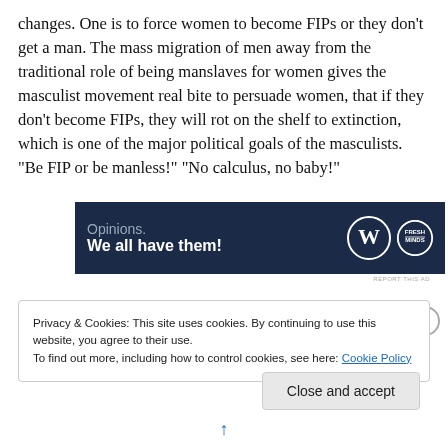changes. One is to force women to become FIPs or they don't get a man. The mass migration of men away from the traditional role of being manslaves for women gives the masculist movement real bite to persuade women, that if they don't become FIPs, they will rot on the shelf to extinction, which is one of the major political goals of the masculists. “Be FIP or be manless!” “No calculus, no baby!”
[Figure (other): Advertisement banner with dark navy background. Text reads 'Opinions.' and 'We all have them!' with WordPress and FreshMind logos on the right.]
REPORT THIS AD
Privacy & Cookies: This site uses cookies. By continuing to use this website, you agree to their use.
To find out more, including how to control cookies, see here: Cookie Policy